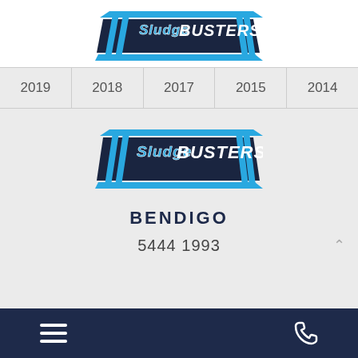[Figure (logo): SludgeBUSTERS company logo — dark navy background with blue chevron/stripe design and 'SludgeBUSTERS' text in blue italic font]
2019
2018
2017
2015
2014
[Figure (logo): SludgeBUSTERS company logo — dark navy background with blue chevron/stripe design and 'SludgeBUSTERS' text in blue italic font]
BENDIGO
5444 1993
[Figure (other): Footer navigation bar: hamburger menu icon (three horizontal lines) on left, phone handset icon on right, dark navy background]